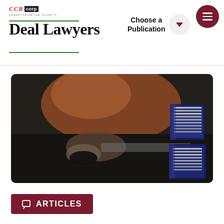[Figure (logo): CCR corp logo with tagline]
Deal Lawyers
Choose a Publication
[Figure (photo): Blurred photo of a person at a desk working with papers and filing binders]
ARTICLES